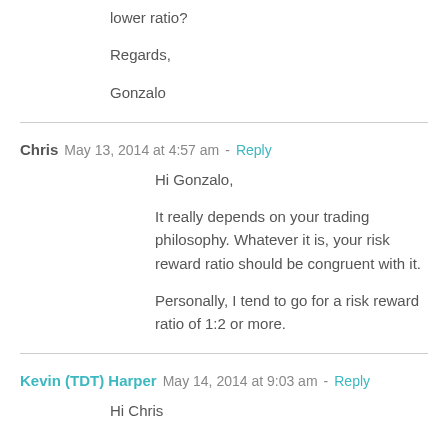lower ratio?
Regards,
Gonzalo
Chris   May 13, 2014 at 4:57 am - Reply
Hi Gonzalo,
It really depends on your trading philosophy. Whatever it is, your risk reward ratio should be congruent with it.
Personally, I tend to go for a risk reward ratio of 1:2 or more.
Kevin (TDT) Harper   May 14, 2014 at 9:03 am - Reply
Hi Chris